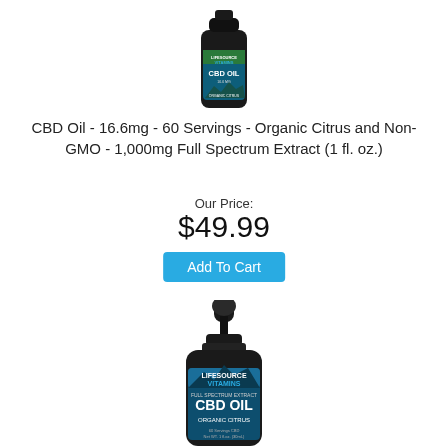[Figure (photo): Small CBD Oil bottle from LifeSource Vitamins - top of page, partially cropped]
CBD Oil - 16.6mg - 60 Servings - Organic Citrus and Non-GMO - 1,000mg Full Spectrum Extract (1 fl. oz.)
Our Price:
$49.99
Add To Cart
[Figure (photo): Large CBD Oil bottle from LifeSource Vitamins - Full Spectrum Extract CBD Oil, Organic Citrus, bottom of page]